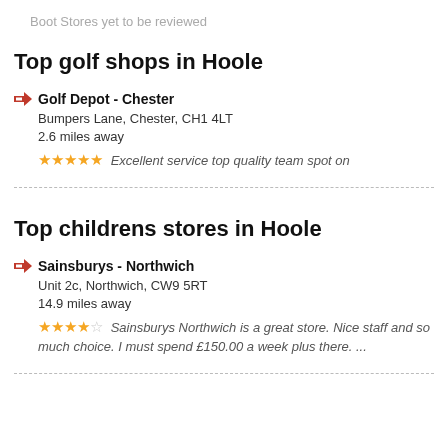Boot Stores yet to be reviewed
Top golf shops in Hoole
Golf Depot - Chester
Bumpers Lane, Chester, CH1 4LT
2.6 miles away
★★★★★ Excellent service top quality team spot on
Top childrens stores in Hoole
Sainsburys - Northwich
Unit 2c, Northwich, CW9 5RT
14.9 miles away
★★★★☆ Sainsburys Northwich is a great store. Nice staff and so much choice. I must spend £150.00 a week plus there. ...